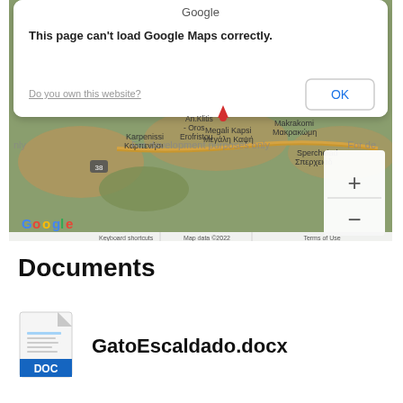[Figure (screenshot): Screenshot showing a Google Maps error dialog ('This page can't load Google Maps correctly.') with an OK button and a 'Do you own this website?' link, overlaying a Google Maps view of the Karpenissi/Makrakomi area of Greece with 'For development purposes only' watermark, zoom controls, and map attribution bar showing 'Keyboard shortcuts | Map data ©2022 | Terms of Use'.]
Documents
[Figure (illustration): Document file icon for a .docx file (white page with blue DOC label at bottom)]
GatoEscaldado.docx